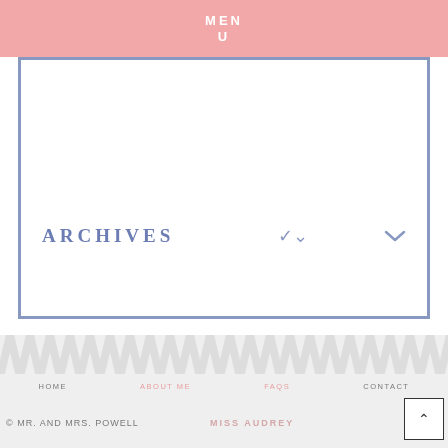MENU
ARCHIVES
HOME   ABOUT ME   FAQS   CONTACT
© MR. AND MRS. POWELL   MISS AUDREY